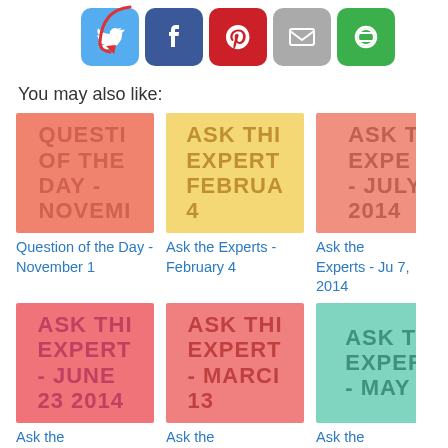[Figure (screenshot): Social share buttons: Twitter (blue), Facebook (dark blue), Pinterest (red), Email (gray), Other (green), with a red arrow pointing to them]
You may also like:
[Figure (illustration): Thumbnail: salmon background with text QUESTION OF THE DAY - NOVEMBER]
Question of the Day - November 1
[Figure (illustration): Thumbnail: yellow background with text ASK THE EXPERTS FEBRUARY 4]
Ask the Experts - February 4
[Figure (illustration): Thumbnail: light salmon background with text ASK THE EXPERTS - JULY 2014 (partially visible)]
Ask the Experts - July 7, 2014
[Figure (illustration): Thumbnail: pink background with text ASK THE EXPERTS - JUNE 23 2014]
Ask the
[Figure (illustration): Thumbnail: rose/pink background with text ASK THE EXPERTS - MARCH 13]
Ask the
[Figure (illustration): Thumbnail: teal background with text ASK THE EXPERTS - MAY (partially visible)]
Ask the